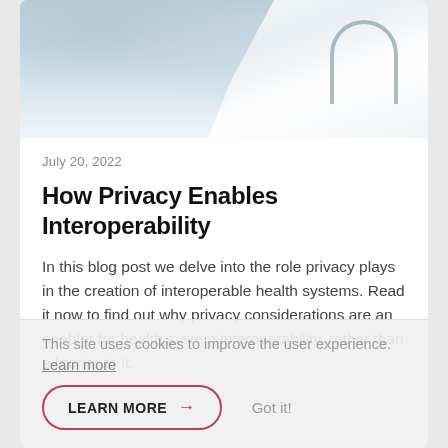[Figure (photo): Photo of a doctor in a white coat with a stethoscope, working at a computer, partially visible at the top of the page]
July 20, 2022
How Privacy Enables Interoperability
In this blog post we delve into the role privacy plays in the creation of interoperable health systems. Read it now to find out why privacy considerations are an enabler for health system interoperability, rather than a barrier to it.
This site uses cookies to improve the user experience. Learn more
LEARN MORE →
Got it!